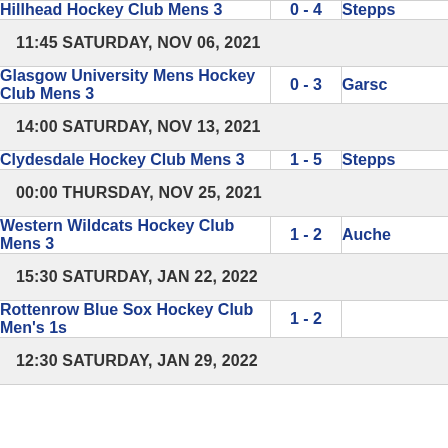| Team | Score | Opponent |
| --- | --- | --- |
| Hillhead Hockey Club Mens 3 | 0 - 4 | Stepps |
| 11:45 SATURDAY, NOV 06, 2021 |  |  |
| Glasgow University Mens Hockey Club Mens 3 | 0 - 3 | Garsc |
| 14:00 SATURDAY, NOV 13, 2021 |  |  |
| Clydesdale Hockey Club Mens 3 | 1 - 5 | Stepps |
| 00:00 THURSDAY, NOV 25, 2021 |  |  |
| Western Wildcats Hockey Club Mens 3 | 1 - 2 | Auche |
| 15:30 SATURDAY, JAN 22, 2022 |  |  |
| Rottenrow Blue Sox Hockey Club Men's 1s | 1 - 2 |  |
| 12:30 SATURDAY, JAN 29, 2022 |  |  |